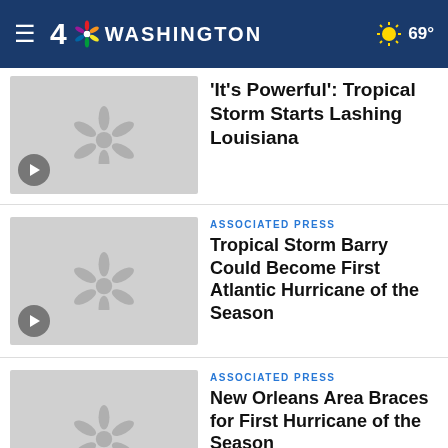4 NBC Washington 69°
[Figure (photo): Video thumbnail placeholder with NBC peacock logo and play button]
'It's Powerful': Tropical Storm Starts Lashing Louisiana
[Figure (photo): Video thumbnail placeholder with NBC peacock logo and play button]
ASSOCIATED PRESS
Tropical Storm Barry Could Become First Atlantic Hurricane of the Season
[Figure (photo): Video thumbnail placeholder with NBC peacock logo and play button]
ASSOCIATED PRESS
New Orleans Area Braces for First Hurricane of the Season